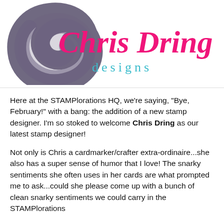[Figure (logo): Chris Dring Designs logo: a large dark purple swirling brushstroke circle with 'Chris Dring' written in hot pink script over it, and 'designs' in teal/turquoise spaced lowercase letters below]
Here at the STAMPlorations HQ, we're saying, "Bye, February!" with a bang: the addition of a new stamp designer. I'm so stoked to welcome Chris Dring as our latest stamp designer!
Not only is Chris a cardmarker/crafter extra-ordinaire...she also has a super sense of humor that I love! The snarky sentiments she often uses in her cards are what prompted me to ask...could she please come up with a bunch of clean snarky sentiments we could carry in the STAMPlorations